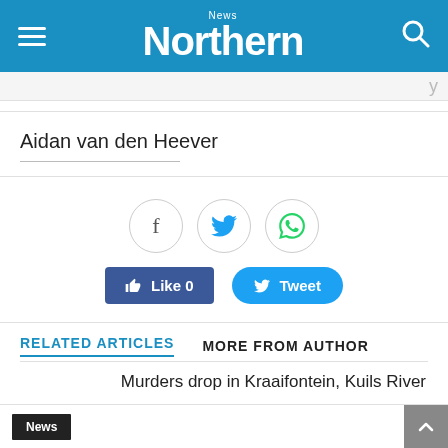Northern News
Aidan van den Heever
[Figure (infographic): Social share buttons: Facebook circle icon, Twitter circle icon, WhatsApp circle icon. Below: Like 0 button (blue, rectangular), Tweet button (blue, rounded).]
RELATED ARTICLES   MORE FROM AUTHOR
Murders drop in Kraaifontein, Kuils River
News